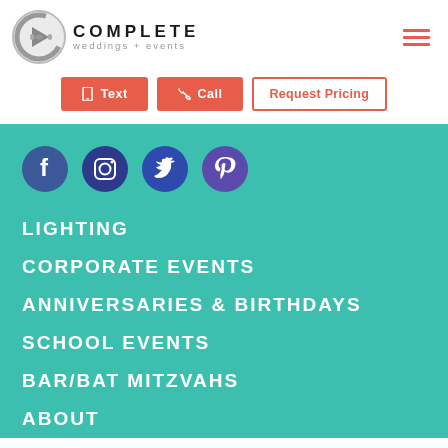[Figure (logo): Complete Weddings + Events logo with circular C icon and stylized bowtie]
[Figure (infographic): Hamburger menu icon (three horizontal lines) in salmon/red color]
[Figure (infographic): Text button: mobile icon + Text (salmon background), phone icon + Call (salmon background), Request Pricing (outlined)]
[Figure (infographic): Social media icons: Facebook, Instagram, Twitter, Pinterest — dark blue circles on teal background]
LIGHTING
CORPORATE EVENTS
ANNIVERSARIES & BIRTHDAYS
SCHOOL EVENTS
BAR/BAT MITZVAHS
ABOUT